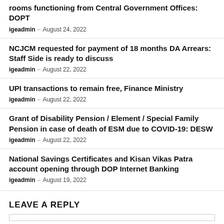rooms functioning from Central Government Offices: DOPT
igeadmin – August 24, 2022
NCJCM requested for payment of 18 months DA Arrears: Staff Side is ready to discuss
igeadmin – August 22, 2022
UPI transactions to remain free, Finance Ministry
igeadmin – August 22, 2022
Grant of Disability Pension / Element / Special Family Pension in case of death of ESM due to COVID-19: DESW
igeadmin – August 22, 2022
National Savings Certificates and Kisan Vikas Patra account opening through DOP Internet Banking
igeadmin – August 19, 2022
LEAVE A REPLY